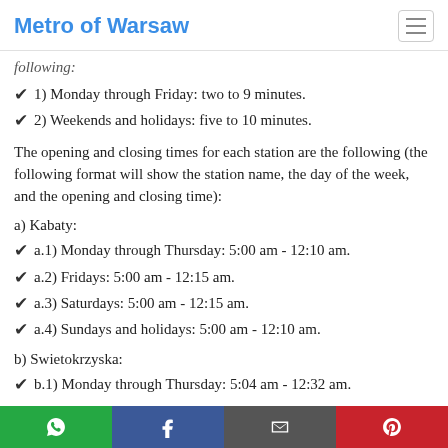Metro of Warsaw
following:
1) Monday through Friday: two to 9 minutes.
2) Weekends and holidays: five to 10 minutes.
The opening and closing times for each station are the following (the following format will show the station name, the day of the week, and the opening and closing time):
a) Kabaty:
a.1) Monday through Thursday: 5:00 am - 12:10 am.
a.2) Fridays: 5:00 am - 12:15 am.
a.3) Saturdays: 5:00 am - 12:15 am.
a.4) Sundays and holidays: 5:00 am - 12:10 am.
b) Swietokrzyska:
b.1) Monday through Thursday: 5:04 am - 12:32 am.